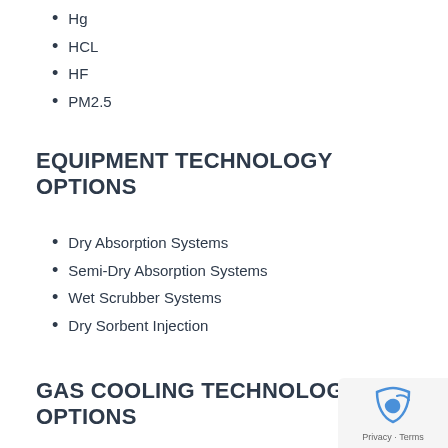Hg
HCL
HF
PM2.5
EQUIPMENT TECHNOLOGY OPTIONS
Dry Absorption Systems
Semi-Dry Absorption Systems
Wet Scrubber Systems
Dry Sorbent Injection
GAS COOLING TECHNOLOGY OPTIONS